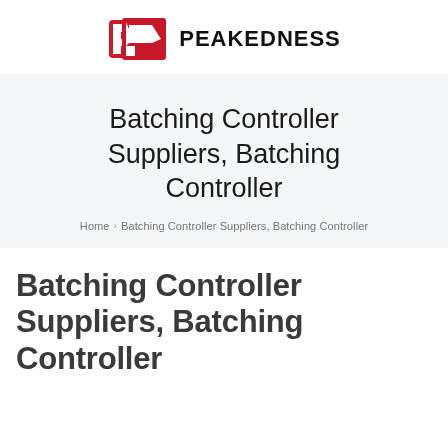[Figure (logo): Peakedness logo: red stylized 'P' arrow icon followed by bold black text 'PEAKEDNESS']
Batching Controller Suppliers, Batching Controller
Home > Batching Controller Suppliers, Batching Controller
Batching Controller Suppliers, Batching Controller